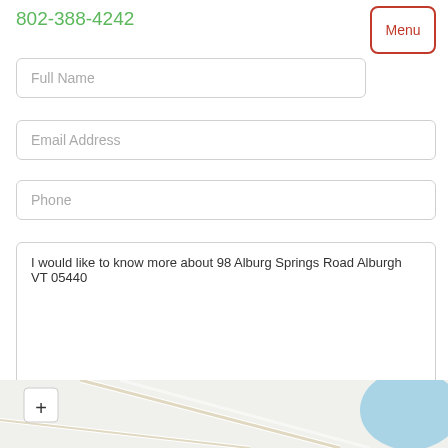802-388-4242
Menu
Full Name
Email Address
Phone
I would like to know more about 98 Alburg Springs Road Alburgh VT 05440
Send
[Figure (map): A street map showing roads near 98 Alburg Springs Road, Alburgh VT, with a zoom-in (+) button and a blue water body visible at the right edge.]